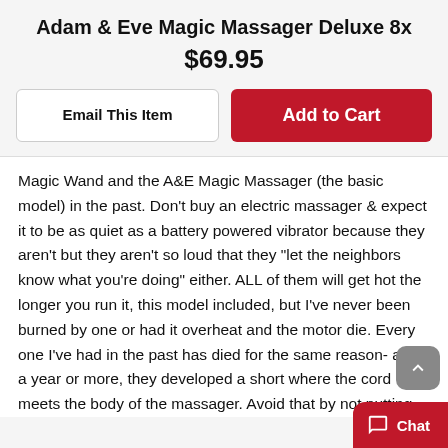Adam & Eve Magic Massager Deluxe 8x
$69.95
Email This Item
Add to Cart
Magic Wand and the A&E Magic Massager (the basic model) in the past. Don't buy an electric massager & expect it to be as quiet as a battery powered vibrator because they aren't but they aren't so loud that they "let the neighbors know what you're doing" either. ALL of them will get hot the longer you run it, this model included, but I've never been burned by one or had it overheat and the motor die. Every one I've had in the past has died for the same reason- after a year or more, they developed a short where the cord meets the body of the massager. Avoid that by not putting extra stress on the cord. THIS model works just as well as A&E's basic model but it has additional speeds other than a "high" and "low" and different pulsation patterns. I like the additio